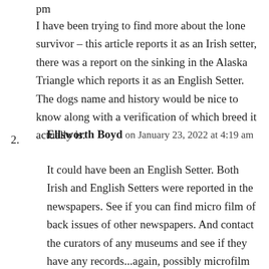pm
I have been trying to find more about the lone survivor – this article reports it as an Irish setter, there was a report on the sinking in the Alaska Triangle which reports it as an English Setter. The dogs name and history would be nice to know along with a verification of which breed it actually is.
2.
Ellsworth Boyd on January 23, 2022 at 4:19 am
It could have been an English Setter. Both Irish and English Setters were reported in the newspapers. See if you can find micro film of back issues of other newspapers. And contact the curators of any museums and see if they have any records...again, possibly microfilm of newspapers. Search online and